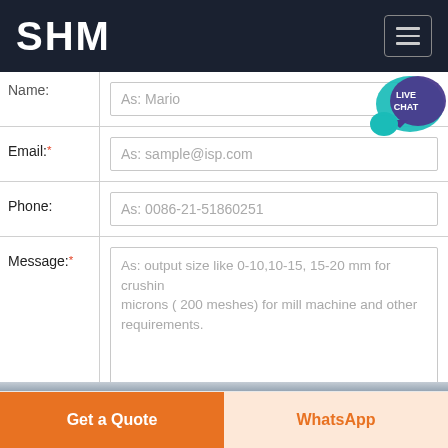SHM
[Figure (screenshot): Live Chat bubble badge in teal/purple]
| Field | Placeholder |
| --- | --- |
| Name: | As: Mario |
| Email:* | As: sample@isp.com |
| Phone: | As: 0086-21-51860251 |
| Message:* | As: output size like 0-10,10-15, 15-20 mm for crushing or 75 microns ( 200 meshes) for mill machine and other requirements. |
Submit Now
[Figure (photo): Industrial building/machinery photo strip]
Get a Quote
WhatsApp